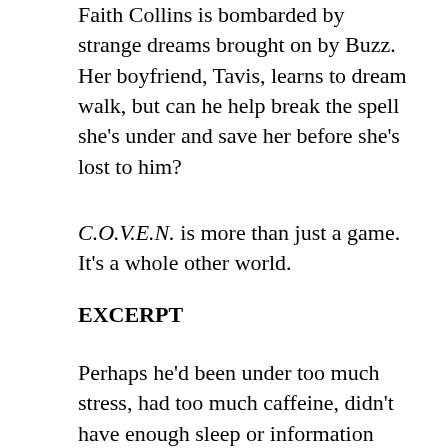Faith Collins is bombarded by strange dreams brought on by Buzz. Her boyfriend, Tavis, learns to dream walk, but can he help break the spell she's under and save her before she's lost to him?
C.O.V.E.N. is more than just a game. It's a whole other world.
EXCERPT
Perhaps he'd been under too much stress, had too much caffeine, didn't have enough sleep or information about the guy. More likely a combination of it all. A hodgepodge of shit and no